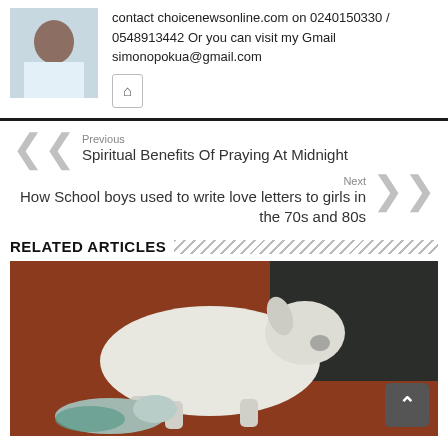contact choicenewsonline.com on 0240150330 / 0548913442 Or you can visit my Gmail simonopokua@gmail.com
[Figure (photo): Author profile photo - man in white shirt]
Previous
Spiritual Benefits Of Praying At Midnight
Next
How School boys used to write love letters to girls in the 70s and 80s
RELATED ARTICLES
[Figure (photo): A goat lying down near what appears to be a newborn or small animal, on a reddish-brown surface]